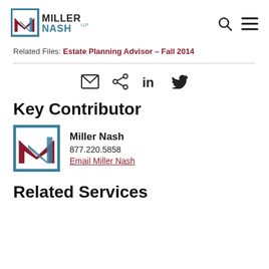Miller Nash LLP
Related Files: Estate Planning Advisor – Fall 2014
[Figure (infographic): Share icons: email, share, LinkedIn, Twitter]
Key Contributor
Miller Nash
877.220.5858
Email Miller Nash
Related Services